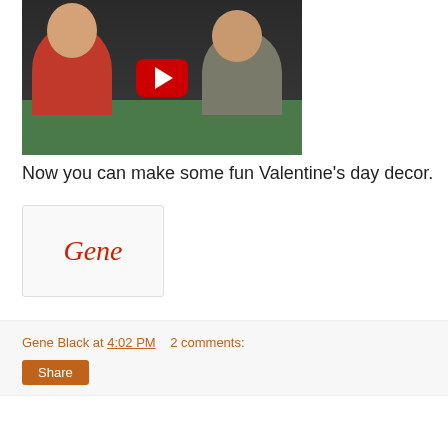[Figure (screenshot): YouTube video thumbnail showing two women working on Valentine's crafts at a green table, with a red YouTube play button overlay in the center.]
Now you can make some fun Valentine's day decor.
[Figure (illustration): Signature image showing the name 'Gene' written in red cursive/handwritten style on a white card with light border.]
Gene Black at 4:02 PM    2 comments:
Share